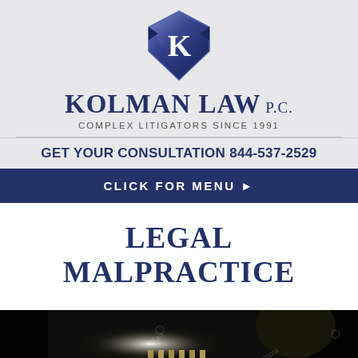[Figure (logo): Kolman Law PC shield logo with letter K in diamond/shield shape, dark blue with metallic sheen]
KOLMAN LAW P.C.
COMPLEX LITIGATORS SINCE 1991
GET YOUR CONSULTATION 844-537-2529
CLICK FOR MENU ▶
LEGAL MALPRACTICE
[Figure (photo): Dark dramatic photo showing prison bars lit from behind with bright light, dark moody atmosphere, Shutterstock watermark visible]